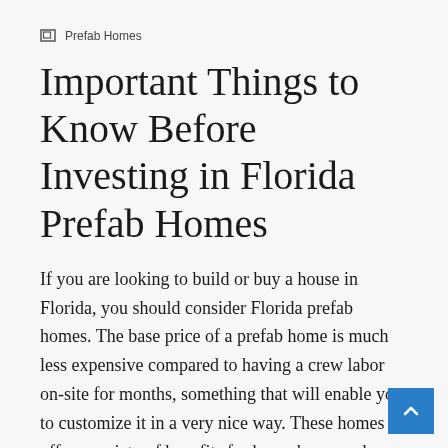⊞ Prefab Homes
Important Things to Know Before Investing in Florida Prefab Homes
If you are looking to build or buy a house in Florida, you should consider Florida prefab homes. The base price of a prefab home is much less expensive compared to having a crew labor on-site for months, something that will enable you to customize it in a very nice way. These homes offer a variety of benefits for home buyers who want to build on a plot of land, but they are not for everyone. The